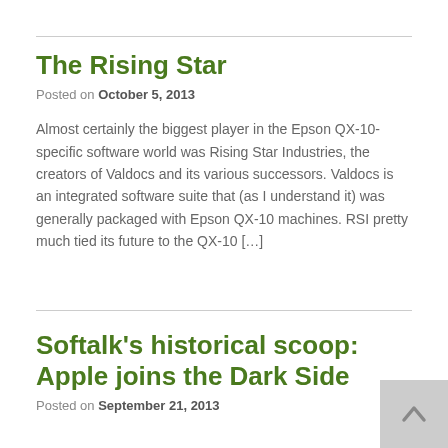The Rising Star
Posted on October 5, 2013
Almost certainly the biggest player in the Epson QX-10-specific software world was Rising Star Industries, the creators of Valdocs and its various successors. Valdocs is an integrated software suite that (as I understand it) was generally packaged with Epson QX-10 machines. RSI pretty much tied its future to the QX-10 […]
Softalk's historical scoop: Apple joins the Dark Side
Posted on September 21, 2013